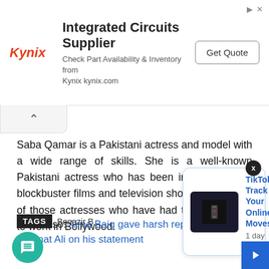[Figure (other): Kynix advertisement banner: Integrated Circuits Supplier, Check Part Availability & Inventory from Kynix kynix.com, with Get Quote button]
Saba Qamar is a Pakistani actress and model with a wide range of skills. She is a well-known Pakistani actress who has been in a number of blockbuster films and television shows. She is one of those actresses who have had the opportunity to work in Bollywood.
Read Also: Aima Baig gave harsh reply to singer Amanat Ali on his statement
TAGS  Benazir B...
[Figure (other): Notification popup: TikTok Track Your Online Moves, 1 day ago, with TikTok phone thumbnail image]